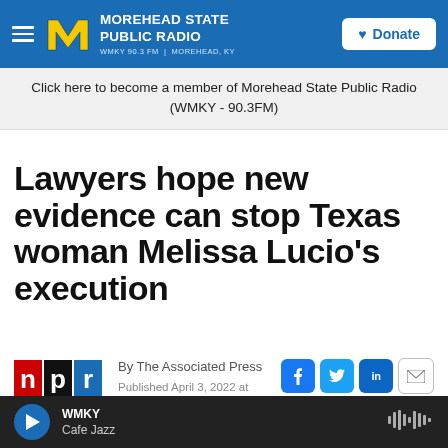Morehead State Public Radio — WMKY 90.3 FM | MOREHEAD, KY — Donate
Click here to become a member of Morehead State Public Radio (WMKY - 90.3FM)
Lawyers hope new evidence can stop Texas woman Melissa Lucio's execution
By The Associated Press
Published April 3, 2022 at
[Figure (logo): NPR logo — red, black, and blue rectangles with letters n, p, r]
WMKY — Cafe Jazz — (audio player bar)